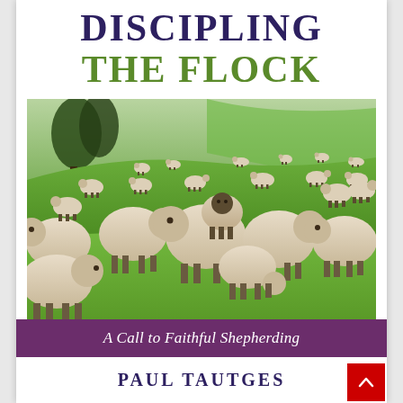DISCIPLING THE FLOCK
[Figure (photo): A flock of sheep grazing on a lush green hillside meadow. Many white woolly sheep are scattered across the green grass slope, with trees visible in the background.]
A Call to Faithful Shepherding
PAUL TAUTGES